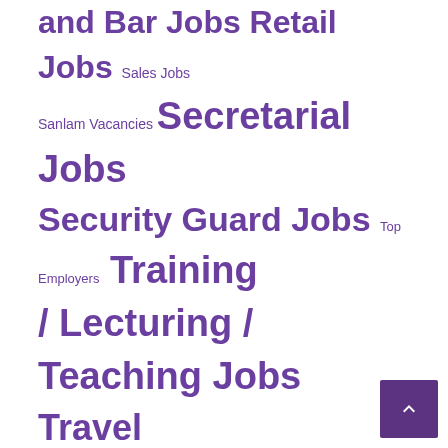and Bar Jobs Retail Jobs Sales Jobs Sanlam Vacancies Secretarial Jobs Security Guard Jobs Top Employers Training / Lecturing / Teaching Jobs Travel and Tourism Jobs Uncategorized University of Cape Town Jobs Woolworths Vacancies
Search
TAGS
Architect (13) Architectural Technologist (15) Atlantic Seaboard (79) Bellville (178) Brackenfell (42) Cape Flats (24) Cape Town (718) Cape Winelands (143) Century City (84) City Centre (267) Claremont & Newlands (45) Durbanville